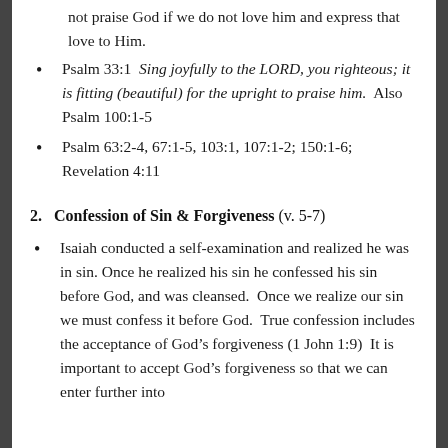not praise God if we do not love him and express that love to Him.
Psalm 33:1  Sing joyfully to the LORD, you righteous; it is fitting (beautiful) for the upright to praise him.  Also Psalm 100:1-5
Psalm 63:2-4, 67:1-5, 103:1, 107:1-2; 150:1-6; Revelation 4:11
2.  Confession of Sin & Forgiveness (v. 5-7)
Isaiah conducted a self-examination and realized he was in sin. Once he realized his sin he confessed his sin before God, and was cleansed.  Once we realize our sin we must confess it before God.  True confession includes the acceptance of God’s forgiveness (1 John 1:9)  It is important to accept God’s forgiveness so that we can enter further into